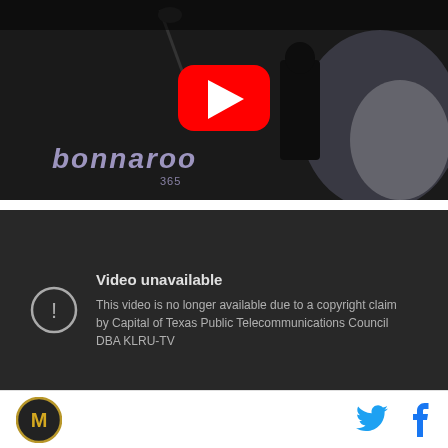[Figure (screenshot): YouTube video thumbnail showing a concert/stage scene with musicians performing under bright lights, with the Bonnaroo 365 logo in the lower left and a red YouTube play button in the center]
[Figure (screenshot): YouTube video unavailable error screen with dark background, exclamation mark icon, and message: 'Video unavailable - This video is no longer available due to a copyright claim by Capital of Texas Public Telecommunications Council DBA KLRU-TV']
[Figure (logo): Circular logo with M letter mark in black and gold, and Twitter bird icon and Facebook f icon in cyan/blue on the right side footer bar]